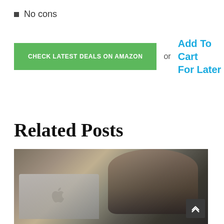No cons
CHECK LATEST DEALS ON AMAZON  or  Add To Cart For Later
Related Posts
[Figure (photo): A person with hand raised to head, sitting in front of an Apple laptop, blurred background]